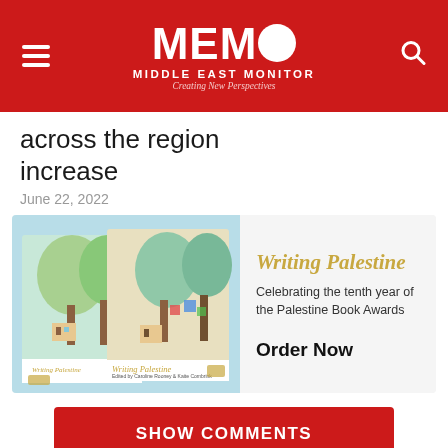MEMO Middle East Monitor — Creating New Perspectives
across the region increase
June 22, 2022
[Figure (illustration): Advertisement banner for 'Writing Palestine' book — Celebrating the tenth year of the Palestine Book Awards. Shows two book covers with colorful artwork. Includes 'Order Now' call to action.]
SHOW COMMENTS